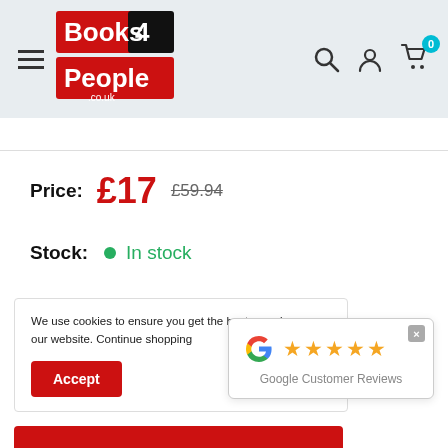[Figure (logo): Books4People.co.uk logo — red and black rectangular logo with white text]
Price: £17 £59.94
Stock: In stock
We use cookies to ensure you get the best experience on our website. Continue shopping
[Figure (other): Google Customer Reviews popup with 5 gold stars and Google G logo]
Accept